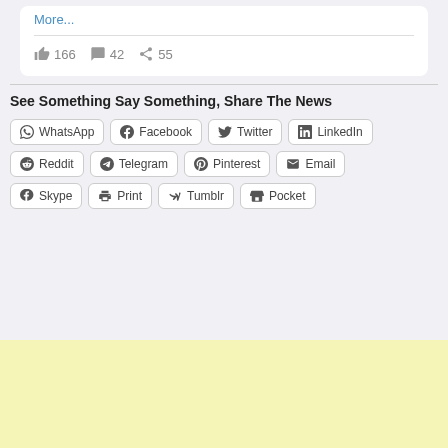More...
166  42  55
See Something Say Something, Share The News
WhatsApp | Facebook | Twitter | LinkedIn | Reddit | Telegram | Pinterest | Email | Skype | Print | Tumblr | Pocket
[Figure (other): Yellow advertisement banner at the bottom of the page]